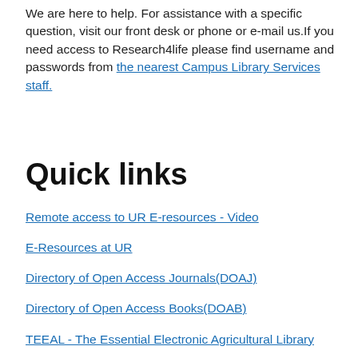We are here to help. For assistance with a specific question, visit our front desk or phone or e-mail us.If you need access to Research4life please find username and passwords from the nearest Campus Library Services staff.
Quick links
Remote access to UR E-resources - Video
E-Resources at UR
Directory of Open Access Journals(DOAJ)
Directory of Open Access Books(DOAB)
TEEAL - The Essential Electronic Agricultural Library
Free online e-books
Remote Teaching Resources
UR Library Services OPAC
Guidelines on Academic Writing at UR...